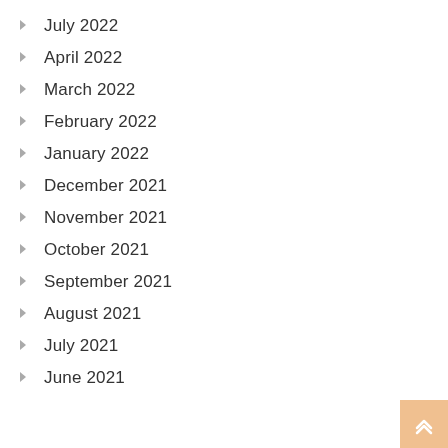July 2022
April 2022
March 2022
February 2022
January 2022
December 2021
November 2021
October 2021
September 2021
August 2021
July 2021
June 2021